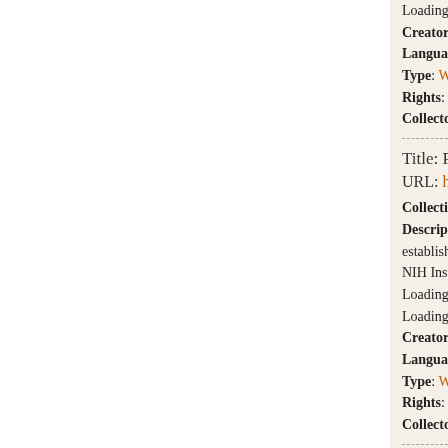Loading video data
Creator: National
Language: English
Type: Web site
Rights: The Natio
Collector: Nationa
Title: Pain Co
URL: http://pa
Collection: Opioid E
Description: Web si established to enha NIH Institutes and Loading Wayback C Loading video data
Creator: National
Language: English
Type: Web site
Rights: The Natio
Collector: Nationa
Title: Opioids
URL: http://ww